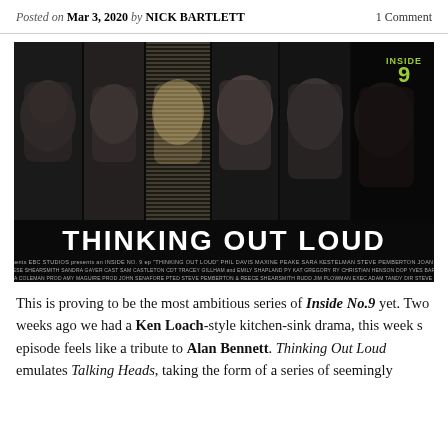Posted on Mar 3, 2020 by NICK BARTLETT    1 Comment
[Figure (photo): Promotional poster for Inside No.9 episode 'Thinking Out Loud' on BBC Two/BBC Studios. Shows five faces in vertical strips (monochrome/dark tones) above the bold white title 'THINKING OUT LOUD'. Credits text at the bottom includes cast and crew names.]
This is proving to be the most ambitious series of Inside No.9 yet. Two weeks ago we had a Ken Loach-style kitchen-sink drama, this week s episode feels like a tribute to Alan Bennett. Thinking Out Loud emulates Talking Heads, taking the form of a series of seemingly